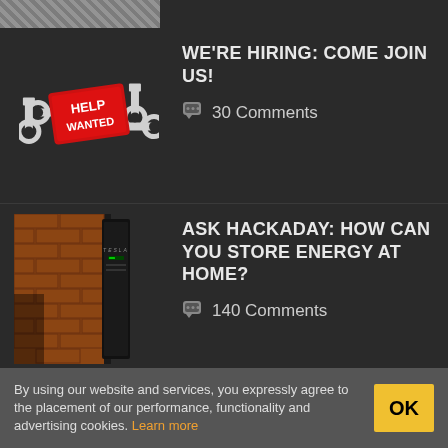[Figure (photo): Cropped bottom of an image, partially visible at top of page]
[Figure (illustration): Help Wanted sign with wrenches icon for hiring article]
WE'RE HIRING: COME JOIN US!
💬 30 Comments
[Figure (photo): Tesla Powerwall battery storage unit mounted on brick wall]
ASK HACKADAY: HOW CAN YOU STORE ENERGY AT HOME?
💬 140 Comments
[Figure (photo): Person with red hair on red background for Steam Power Hack Chat]
STEAM POWER HACK CHAT
By using our website and services, you expressly agree to the placement of our performance, functionality and advertising cookies. Learn more